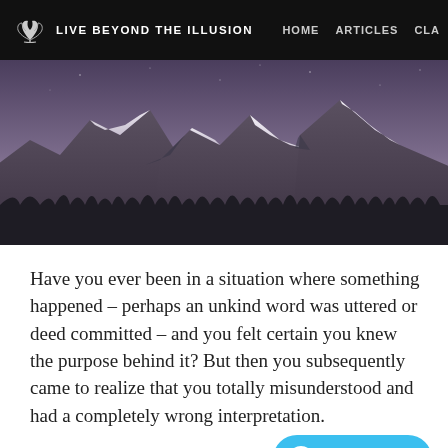LIVE BEYOND THE ILLUSION   HOME   ARTICLES   CLA
[Figure (photo): Snow-capped mountain peaks at dusk/twilight with dark evergreen forest in the foreground and a purple-grey sky]
Have you ever been in a situation where something happened – perhaps an unkind word was uttered or deed committed – and you felt certain you knew the purpose behind it? But then you subsequently came to realize that you totally misunderstood and had a completely wrong interpretation.
Well, we do that all the time.